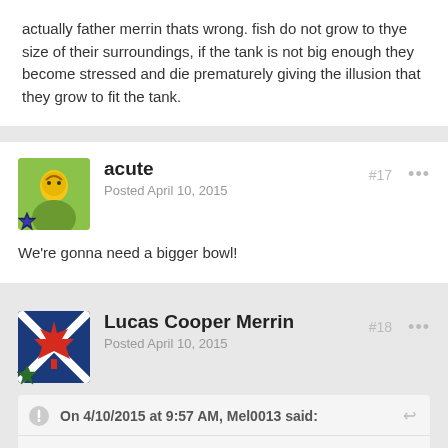actually father merrin thats wrong. fish do not grow to thye size of their surroundings, if the tank is not big enough they become stressed and die prematurely giving the illusion that they grow to fit the tank.
acute
Posted April 10, 2015
#17
We're gonna need a bigger bowl!
Lucas Cooper Merrin
Posted April 10, 2015
#18
On 4/10/2015 at 9:57 AM, Mel0013 said:
actually father merrin thats wrong. fish do not grow to thye size of their surroundings, if the tank is not big enough they become stressed and die prematurely giving the illusion that they grow to